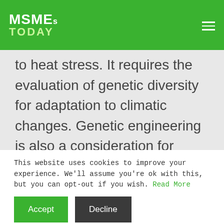MSMEs TODAY
to heat stress. It requires the evaluation of genetic diversity for adaptation to climatic changes. Genetic engineering is also a consideration for alleviating the adverse effects of heat stress by improving the heat tolerance of the seeds. It is, however, a complex process of genetic modification, so other techniques can be used.
This website uses cookies to improve your experience. We'll assume you're ok with this, but you can opt-out if you wish. Read More
Accept   Decline